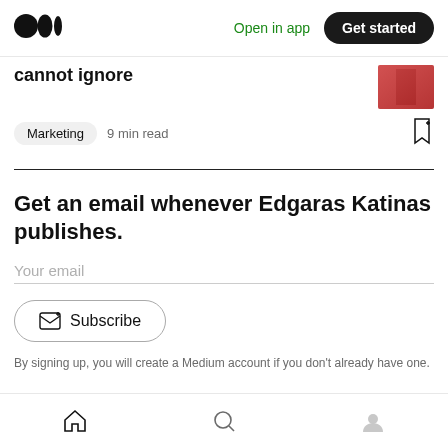[Figure (logo): Medium logo — two overlapping circles]
Open in app
Get started
cannot ignore
Marketing  9 min read
Get an email whenever Edgaras Katinas publishes.
Your email
Subscribe
By signing up, you will create a Medium account if you don't already have one.